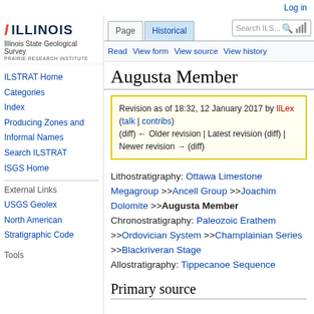Log in
[Figure (logo): University of Illinois / Illinois State Geological Survey / Prairie Research Institute logo]
ILSTRAT Home
Categories
Index
Producing Zones and Informal Names
Search ILSTRAT
ISGS Home
External Links
USGS Geolex
North American Stratigraphic Code
Tools
Page | Historical | Read | View form | View source | View history | Search ILSTRAT
Augusta Member
Revision as of 18:32, 12 January 2017 by IlLex (talk | contribs)
(diff) ← Older revision | Latest revision (diff) | Newer revision → (diff)
Lithostratigraphy: Ottawa Limestone Megagroup >>Ancell Group >>Joachim Dolomite >>Augusta Member
Chronostratigraphy: Paleozoic Erathem >>Ordovician System >>Champlainian Series >>Blackriveran Stage
Allostratigraphy: Tippecanoe Sequence
Primary source